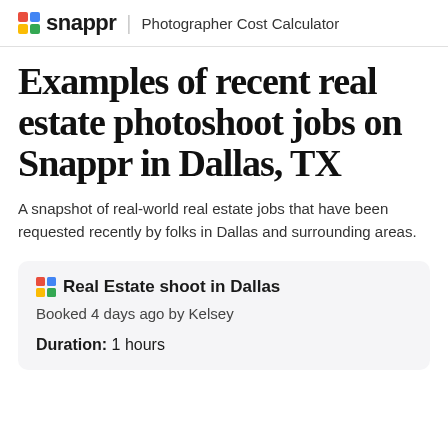snappr  Photographer Cost Calculator
Examples of recent real estate photoshoot jobs on Snappr in Dallas, TX
A snapshot of real-world real estate jobs that have been requested recently by folks in Dallas and surrounding areas.
Real Estate shoot in Dallas
Booked 4 days ago by Kelsey
Duration: 1 hours